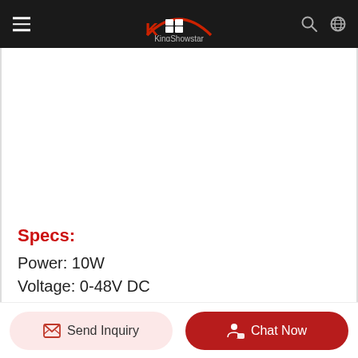KingShowstar
[Figure (other): White blank product image area]
Specs:
Power: 10W
Voltage: 0-48V DC
Send Inquiry
Chat Now